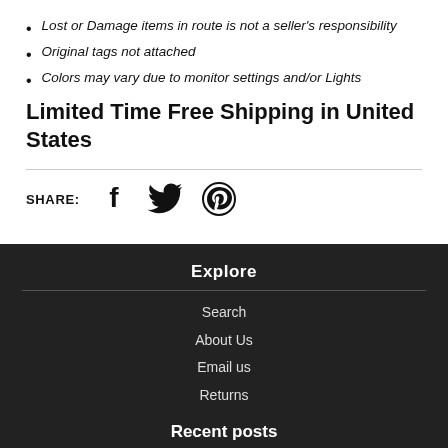Lost or Damage items in route is not a seller's responsibility
Original tags not attached
Colors may vary due to monitor settings and/or Lights
Limited Time Free Shipping in United States
[Figure (infographic): Social share icons: Facebook, Twitter, Pinterest with SHARE: label]
Explore
Search
About Us
Email us
Returns
Recent posts